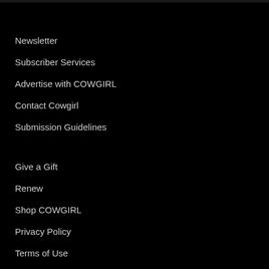Newsletter
Subscriber Services
Advertise with COWGIRL
Contact Cowgirl
Submission Guidelines
Give a Gift
Renew
Shop COWGIRL
Privacy Policy
Terms of Use
Connect with Us